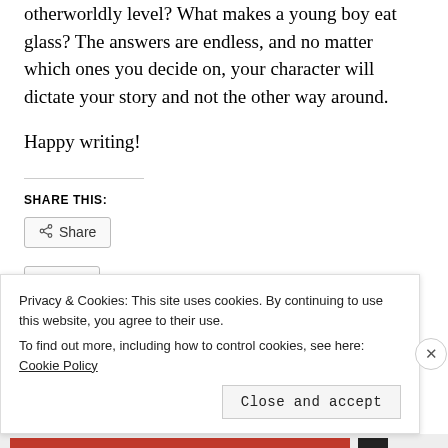otherworldly level? What makes a young boy eat glass? The answers are endless, and no matter which ones you decide on, your character will dictate your story and not the other way around.
Happy writing!
SHARE THIS:
[Figure (screenshot): Share button with share icon]
[Figure (screenshot): Like button with blue star icon]
Privacy & Cookies: This site uses cookies. By continuing to use this website, you agree to their use. To find out more, including how to control cookies, see here: Cookie Policy
Close and accept